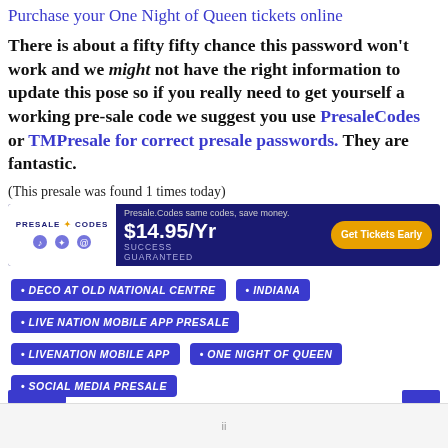Purchase your One Night of Queen tickets online
There is about a fifty fifty chance this password won't work and we might not have the right information to update this pose so if you really need to get yourself a working pre-sale code we suggest you use PresaleCodes or TMPresale for correct presale passwords. They are fantastic.
(This presale was found 1 times today)
[Figure (other): Presale Codes advertisement banner: $14.95/Yr SUCCESS GUARANTEED, Get Tickets Early]
DECO AT OLD NATIONAL CENTRE
INDIANA
LIVE NATION MOBILE APP PRESALE
LIVENATION MOBILE APP
ONE NIGHT OF QUEEN
SOCIAL MEDIA PRESALE